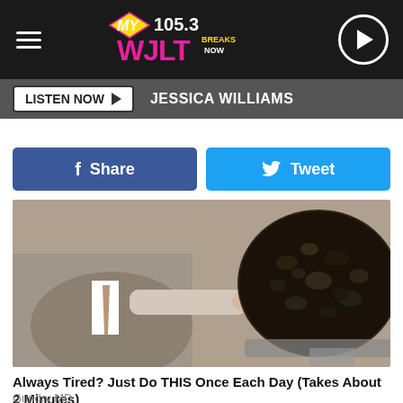MY 105.3 WJLT
LISTEN NOW ▶   JESSICA WILLIAMS
Share   Tweet
[Figure (photo): Man in suit pointing at a large bowl of dark food substance]
Always Tired? Just Do THIS Once Each Day (Takes About 2 Minutes)
Gundry MD
[Figure (photo): Person in red clothing, partially visible at bottom of page]